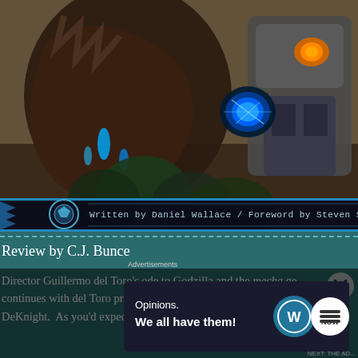[Figure (illustration): Book cover illustration showing a giant monster (Kaiju) with glowing blue accents facing a large mecha robot with an orange eye/visor, with trees and rocky terrain in the background. A banner at the bottom reads 'Written by Daniel Wallace / Foreword by Steven S. DeKnight' with a blue PPDC logo icon on the left.]
Review by C.J. Bunce
Director Guillermo del Toro's ode to Godzilla and the mecha ge continues with del Toro producing the sequel Pacific Rim: Upris DeKnight.  As you'd expect, that means bigger and better Jaege
Advertisements
[Figure (screenshot): Advertisement banner with dark background reading 'Opinions. We all have them!' with WordPress logo and another logo (Jetpack or similar) on the right side.]